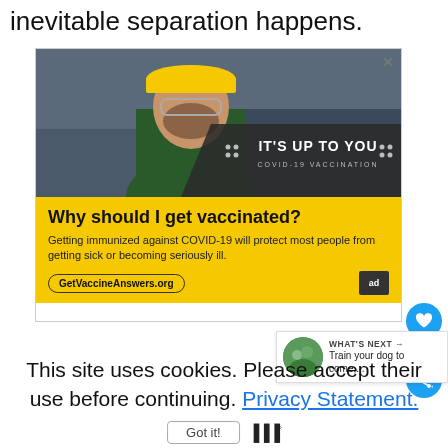inevitable separation happens.
[Figure (photo): Advertisement: COVID-19 vaccination ad from AdCouncil. Shows a construction worker in a yellow hard hat. Yellow lower section reads 'Why should I get vaccinated? Getting immunized against COVID-19 will protect most people from getting sick or becoming seriously ill.' with URL GetVaccineAnswers.org and AdCouncil logo.]
This site uses cookies. Please accept their use before continuing. Privacy Statement.
Got it!